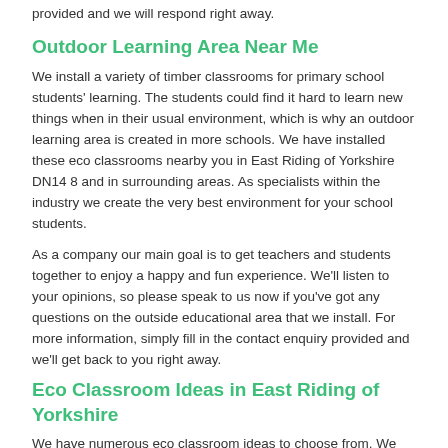provided and we will respond right away.
Outdoor Learning Area Near Me
We install a variety of timber classrooms for primary school students' learning. The students could find it hard to learn new things when in their usual environment, which is why an outdoor learning area is created in more schools. We have installed these eco classrooms nearby you in East Riding of Yorkshire DN14 8 and in surrounding areas. As specialists within the industry we create the very best environment for your school students.
As a company our main goal is to get teachers and students together to enjoy a happy and fun experience. We'll listen to your opinions, so please speak to us now if you've got any questions on the outside educational area that we install. For more information, simply fill in the contact enquiry provided and we'll get back to you right away.
Eco Classroom Ideas in East Riding of Yorkshire
We have numerous eco classroom ideas to choose from. We are able to offer you a variety of designs to improve your school